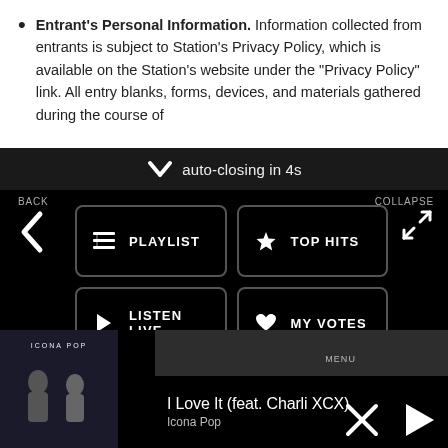Entrant's Personal Information. Information collected from entrants is subject to Station's Privacy Policy, which is available on the Station's website under the "Privacy Policy" link. All entry blanks, forms, devices, and materials gathered during the course of
auto-closing in 4s
[Figure (screenshot): Mobile app navigation menu with buttons: PLAYLIST, TOP HITS, LISTEN LIVE, MY VOTES, CONTROLS. Back chevron on left, Collapse icon on right.]
Data opt-out
[Figure (screenshot): Music player showing album art for Icona Pop, song title 'I Love It (feat. Charli XCX)', artist 'Icona Pop', with MENU label, X (close) and play controls.]